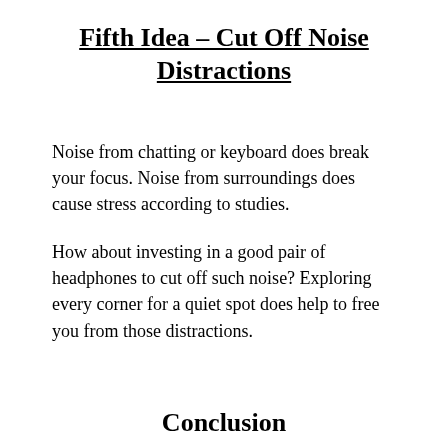Fifth Idea – Cut Off Noise Distractions
Noise from chatting or keyboard does break your focus. Noise from surroundings does cause stress according to studies.
How about investing in a good pair of headphones to cut off such noise? Exploring every corner for a quiet spot does help to free you from those distractions.
Conclusion